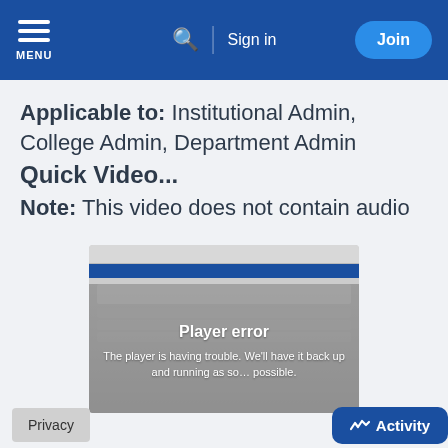MENU | Search | Sign in | Join
Applicable to: Institutional Admin, College Admin, Department Admin
Quick Video...
Note: This video does not contain audio
[Figure (screenshot): Video player showing a player error overlay: 'Player error — The player is having trouble. We'll have it back up and running as soon as possible.']